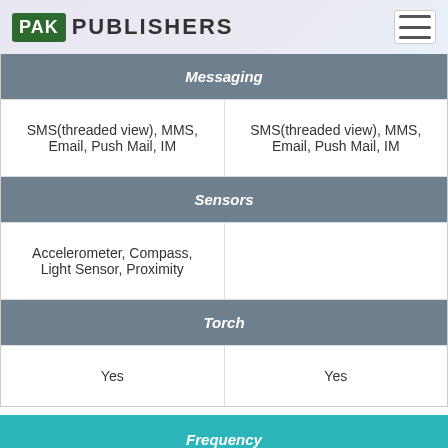PAK PUBLISHERS
| Messaging | Messaging |
| --- | --- |
| SMS(threaded view), MMS, Email, Push Mail, IM | SMS(threaded view), MMS, Email, Push Mail, IM |
| Sensors | Sensors |
| Accelerometer, Compass, Light Sensor, Proximity |  |
| Torch | Torch |
| Yes | Yes |
Frequency
2G Band